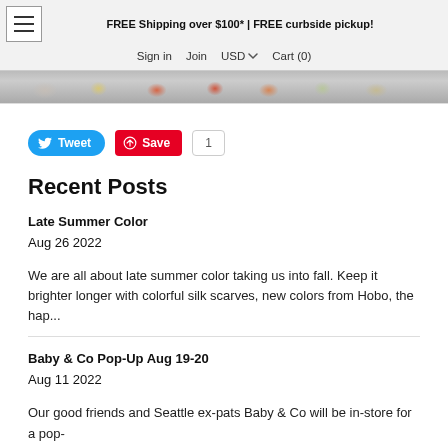FREE Shipping over $100* | FREE curbside pickup!  Sign in  Join  USD  Cart (0)
[Figure (photo): Partial view of colorful items on a display surface - appears to be a product photo strip]
Tweet  Save  1
Recent Posts
Late Summer Color
Aug 26 2022
We are all about late summer color taking us into fall. Keep it brighter longer with colorful silk scarves, new colors from Hobo, the hap...
Baby & Co Pop-Up Aug 19-20
Aug 11 2022
Our good friends and Seattle ex-pats Baby & Co will be in-store for a pop-